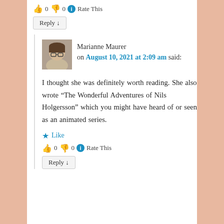👍 0 👎 0 ℹ Rate This
Reply ↓
Marianne Maurer on August 10, 2021 at 2:09 am said:
I thought she was definitely worth reading. She also wrote “The Wonderful Adventures of Nils Holgersson” which you might have heard of or seen as an animated series.
★ Like
👍 0 👎 0 ℹ Rate This
Reply ↓